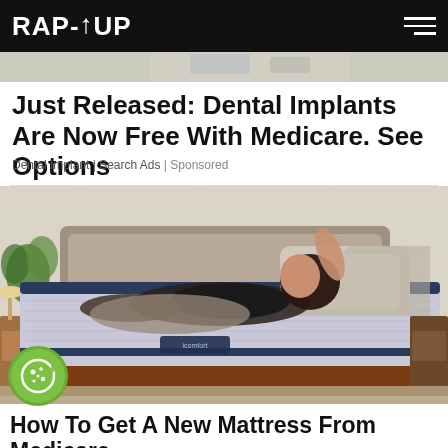RAP-UP
[Figure (photo): Thin decorative hero strip at top of content area]
Just Released: Dental Implants Are Now Free With Medicare. See Options
Dental Implant | Search Ads | Sponsored
[Figure (photo): Woman lying on an adjustable iComfort mattress in a bedroom setting]
How To Get A New Mattress From Medicare